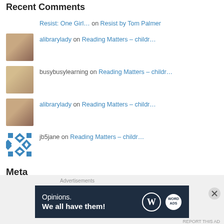Recent Comments
Resist: One Girl… on Resist by Tom Palmer
alibrarylady on Reading Matters – childr…
busybusylearning on Reading Matters – childr…
alibrarylady on Reading Matters – childr…
jb5jane on Reading Matters – childr…
Meta
Register
Log in
Entries feed
[Figure (other): Advertisement banner: WordPress ad 'Opinions. We all have them!']
Advertisements